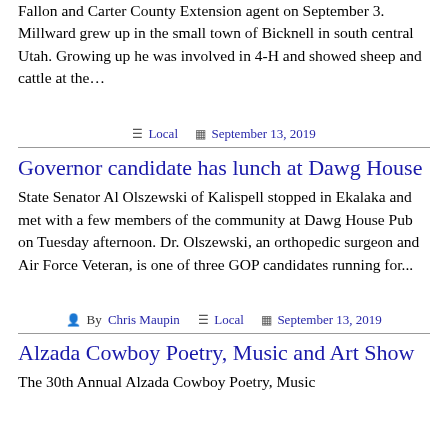Fallon and Carter County Extension agent on September 3. Millward grew up in the small town of Bicknell in south central Utah. Growing up he was involved in 4-H and showed sheep and cattle at the…
Local  September 13, 2019
Governor candidate has lunch at Dawg House
State Senator Al Olszewski of Kalispell stopped in Ekalaka and met with a few members of the community at Dawg House Pub on Tuesday afternoon. Dr. Olszewski, an orthopedic surgeon and Air Force Veteran, is one of three GOP candidates running for...
By Chris Maupin  Local  September 13, 2019
Alzada Cowboy Poetry, Music and Art Show
The 30th Annual Alzada Cowboy Poetry, Music